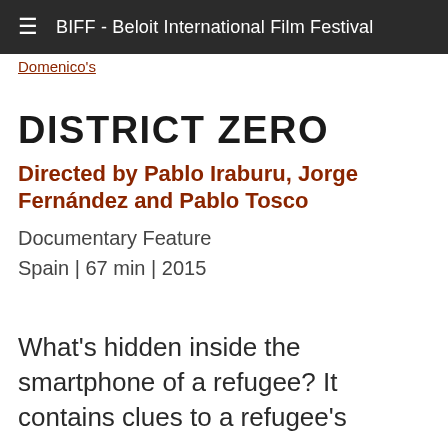BIFF - Beloit International Film Festival
Domenico's
DISTRICT ZERO
Directed by Pablo Iraburu, Jorge Fernández and Pablo Tosco
Documentary Feature
Spain | 67 min | 2015
What's hidden inside the smartphone of a refugee? It contains clues to a refugee's